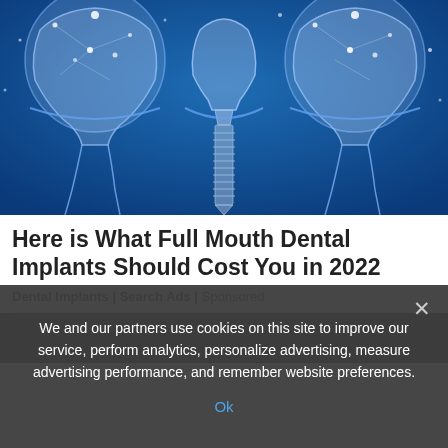[Figure (illustration): Digital illustration of dental implants on a blue background showing three teeth — two natural teeth on sides with root structures and one dental implant in the center with a screw-type metal post, rendered in a glowing wireframe/polygon style with white and light blue tones on a deep blue background.]
Here is What Full Mouth Dental Implants Should Cost You in 2022
Dental Implants | Search Ads | Sponsored
[Figure (photo): Partially visible photo background, mostly obscured by cookie consent overlay.]
We and our partners use cookies on this site to improve our service, perform analytics, personalize advertising, measure advertising performance, and remember website preferences.
Ok